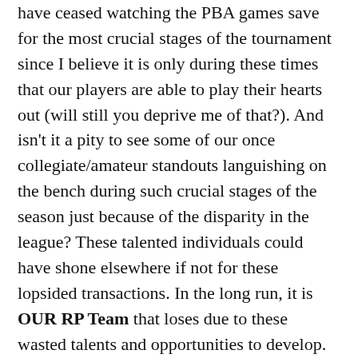have ceased watching the PBA games save for the most crucial stages of the tournament since I believe it is only during these times that our players are able to play their hearts out (will still you deprive me of that?). And isn't it a pity to see some of our once collegiate/amateur standouts languishing on the bench during such crucial stages of the season just because of the disparity in the league? These talented individuals could have shone elsewhere if not for these lopsided transactions. In the long run, it is OUR RP Team that loses due to these wasted talents and opportunities to develop.
And another point, put things in proper context. My article was written way before the recently concluded FIBA Asia. I am one in saying that despite finishing 8th in a field of 16, I am still proud of OUR RP Team. We were that close to